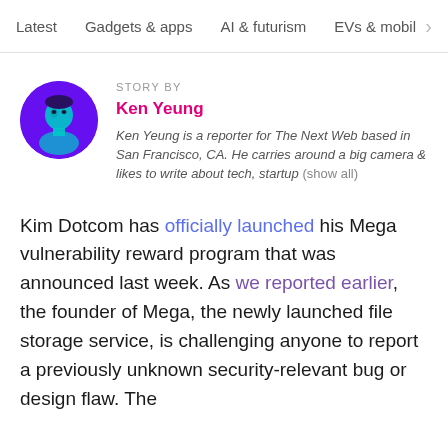Latest   Gadgets & apps   AI & futurism   EVs & mobil   >
STORY BY
Ken Yeung
Ken Yeung is a reporter for The Next Web based in San Francisco, CA. He carries around a big camera & likes to write about tech, startup (show all)
Kim Dotcom has officially launched his Mega vulnerability reward program that was announced last week. As we reported earlier, the founder of Mega, the newly launched file storage service, is challenging anyone to report a previously unknown security-relevant bug or design flaw. The